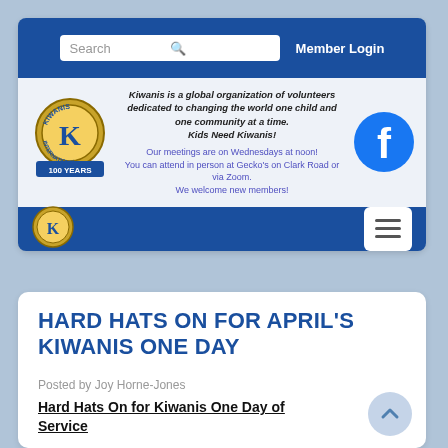[Figure (screenshot): Kiwanis website screenshot showing navigation bar with search box and Member Login, Kiwanis 100 Years logo, organization tagline, meeting info, Facebook icon, mobile nav bar with Kiwanis logo and hamburger menu]
HARD HATS ON FOR APRIL'S KIWANIS ONE DAY
Posted by Joy Horne-Jones
Hard Hats On for Kiwanis One Day of Service